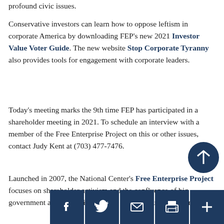profound civic issues.
Conservative investors can learn how to oppose leftism in corporate America by downloading FEP's new 2021 Investor Value Voter Guide. The new website Stop Corporate Tyranny also provides tools for engagement with corporate leaders.
Today's meeting marks the 9th time FEP has participated in a shareholder meeting in 2021. To schedule an interview with a member of the Free Enterprise Project on this or other issues, contact Judy Kent at (703) 477-7476.
Launched in 2007, the National Center's Free Enterprise Project focuses on shareholder activism and the confluence of big government and big business. Over the past four years alone,